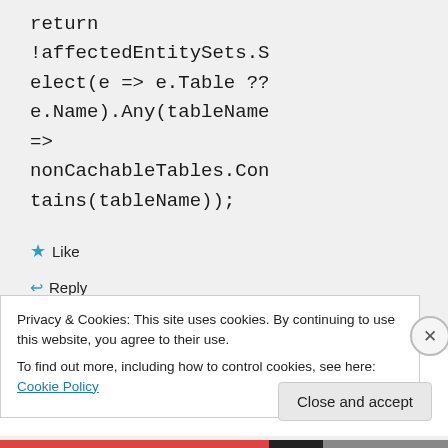return !affectedEntitySets.Select(e => e.Table ?? e.Name).Any(tableName => nonCachableTables.Contains(tableName));
★ Like
↩ Reply
Privacy & Cookies: This site uses cookies. By continuing to use this website, you agree to their use.
To find out more, including how to control cookies, see here: Cookie Policy
Close and accept